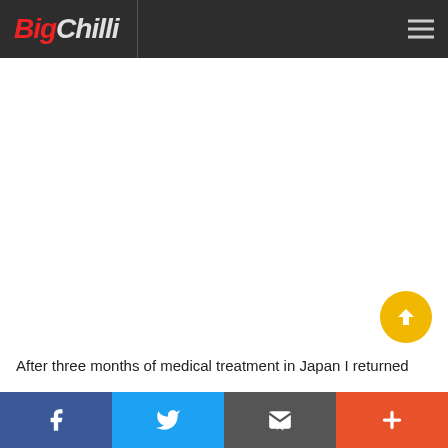BigChilli
After three months of medical treatment in Japan I returned
Social share bar: Facebook, Twitter, Email, More